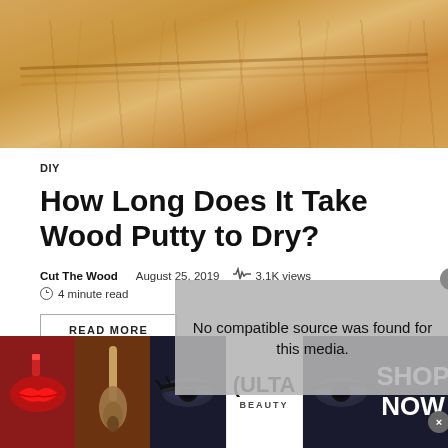[Figure (photo): Close-up photo of light wood flooring with diagonal grain lines, warm golden-brown tones]
DIY
How Long Does It Take Wood Putty to Dry?
Cut The Wood    August 25, 2019    3.1K views
4 minute read
READ MORE
[Figure (infographic): No compatible source was found for this media. Video overlay with close button.]
[Figure (photo): Advertisement banner showing makeup/beauty products with Ulta Beauty logo and SHOP NOW call to action]